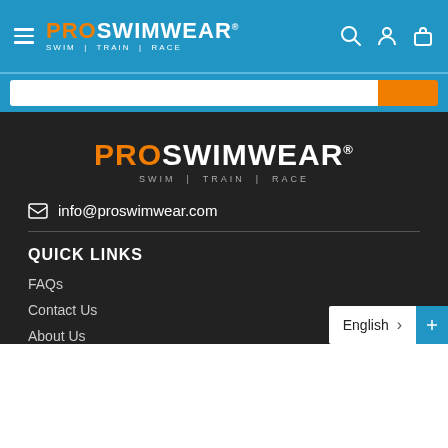[Figure (logo): ProSwimwear logo in header: PRO in orange, SWIMWEAR in white, tagline SWIM | TRAIN | RACE]
[Figure (screenshot): Search bar strip with white input and orange search button]
[Figure (logo): ProSwimwear footer logo: PRO in orange, SWIMWEAR in white, tagline SWIM | TRAIN | RACE]
info@proswimwear.com
QUICK LINKS
FAQs
Contact Us
About Us
English